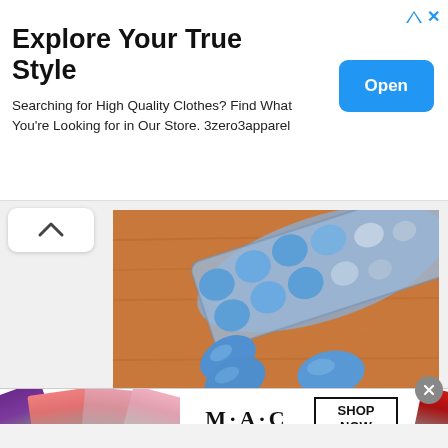[Figure (screenshot): Top advertisement banner: 'Explore Your True Style' ad for 3zero3apparel with blue Open button and ad icons]
[Figure (photo): Blue pills/tablets scattered on a wooden surface beside a blister pack partially used, several pills still in silver foil packaging]
[Figure (screenshot): MAC cosmetics advertisement banner showing lipsticks in purple, pink, and red with MAC logo and SHOP NOW button]